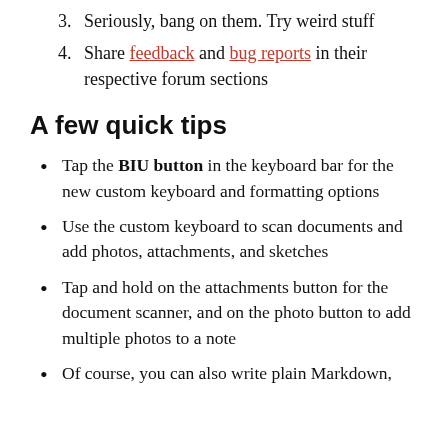3. Seriously, bang on them. Try weird stuff
4. Share feedback and bug reports in their respective forum sections
A few quick tips
Tap the BIU button in the keyboard bar for the new custom keyboard and formatting options
Use the custom keyboard to scan documents and add photos, attachments, and sketches
Tap and hold on the attachments button for the document scanner, and on the photo button to add multiple photos to a note
Of course, you can also write plain Markdown,